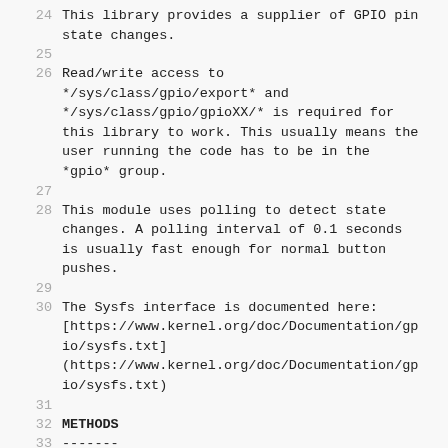24  This library provides a supplier of GPIO pin
    state changes.
25
26  Read/write access to
    */sys/class/gpio/export* and
    */sys/class/gpio/gpioXX/* is required for
    this library to work. This usually means the
    user running the code has to be in the
    *gpio* group.
27
28  This module uses polling to detect state
    changes. A polling interval of 0.1 seconds
    is usually fast enough for normal button
    pushes.
29
30  The Sysfs interface is documented here:
    [https://www.kernel.org/doc/Documentation/gp
    io/sysfs.txt]
    (https://www.kernel.org/doc/Documentation/gp
    io/sysfs.txt)
31
32  METHODS
33  -------